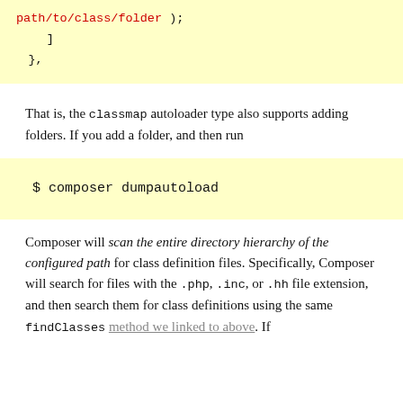[Figure (screenshot): Code block with yellow background showing: path/to/class/folder; ], },]
That is, the classmap autoloader type also supports adding folders. If you add a folder, and then run
[Figure (screenshot): Code block with yellow background showing: $ composer dumpautoload]
Composer will scan the entire directory hierarchy of the configured path for class definition files. Specifically, Composer will search for files with the .php, .inc, or .hh file extension, and then search them for class definitions using the same findClasses method we linked to above. If